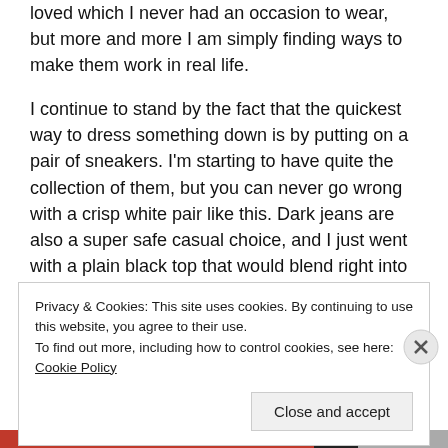loved which I never had an occasion to wear, but more and more I am simply finding ways to make them work in real life.
I continue to stand by the fact that the quickest way to dress something down is by putting on a pair of sneakers. I'm starting to have quite the collection of them, but you can never go wrong with a crisp white pair like this. Dark jeans are also a super safe casual choice, and I just went with a plain black top that would blend right into the jacket.
Privacy & Cookies: This site uses cookies. By continuing to use this website, you agree to their use.
To find out more, including how to control cookies, see here: Cookie Policy
Close and accept